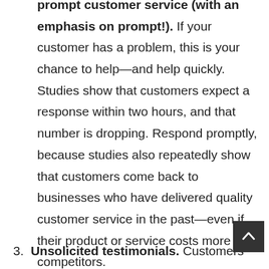prompt customer service (with an emphasis on prompt!). If your customer has a problem, this is your chance to help—and help quickly. Studies show that customers expect a response within two hours, and that number is dropping. Respond promptly, because studies also repeatedly show that customers come back to businesses who have delivered quality customer service in the past—even if their product or service costs more than competitors.
3. Unsolicited testimonials. Customers